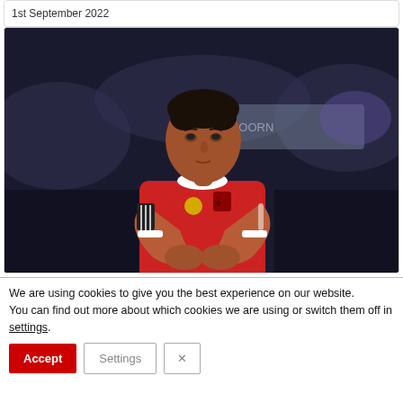1st September 2022
[Figure (photo): A football player wearing a red Benfica jersey with arms crossed over chest, standing in front of a blurred crowd background]
We are using cookies to give you the best experience on our website.
You can find out more about which cookies we are using or switch them off in settings.
Accept
Settings
×